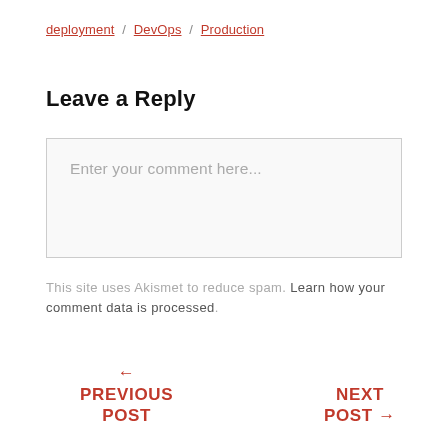deployment / DevOps / Production
Leave a Reply
Enter your comment here...
This site uses Akismet to reduce spam. Learn how your comment data is processed.
← PREVIOUS POST
NEXT POST →